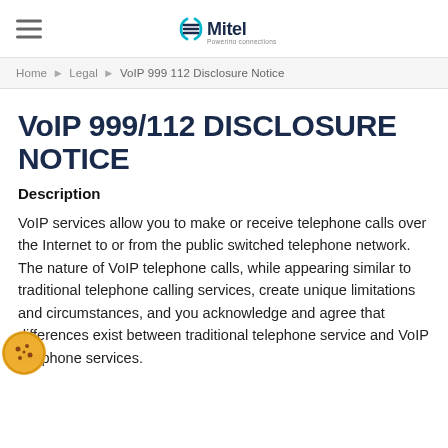Mitel — Powering connections
Home › Legal › VoIP 999 112 Disclosure Notice
VoIP 999/112 DISCLOSURE NOTICE
Description
VoIP services allow you to make or receive telephone calls over the Internet to or from the public switched telephone network. The nature of VoIP telephone calls, while appearing similar to traditional telephone calling services, create unique limitations and circumstances, and you acknowledge and agree that differences exist between traditional telephone service and VoIP telephone services.